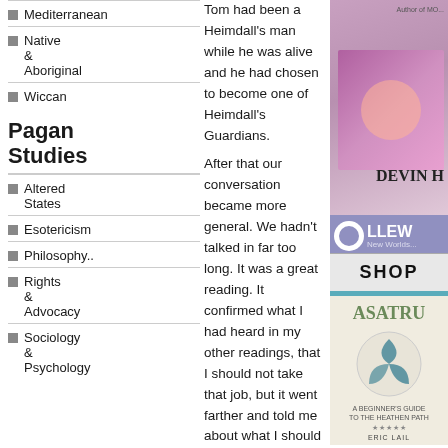Mediterranean
Native & Aboriginal
Wiccan
Pagan Studies
Altered States
Esotericism
Philosophy..
Rights & Advocacy
Sociology & Psychology
Tom had been a Heimdall's man while he was alive and he had chosen to become one of Heimdall's Guardians.
After that our conversation became more general. We hadn't talked in far too long. It was a great reading. It confirmed what I had heard in my other readings, that I should not take that job, but it went farther and told me about what I should be doing instead. The tarot reading told me that my job right now is to grieve and to do the the long term things I'd already been doing before the job opportunity arrived. I should continue as I had already been doing before.
Last modified on Sunday, 14 March 2021
0 Comments
Continue reading
Tweet
[Figure (illustration): Book cover or promotional image in purple/pink tones with author name Devin H visible]
[Figure (logo): Llewellyn New Worlds logo with moon icon and SHOP button below]
[Figure (illustration): Asatru book cover - A Beginner's Guide to the Heathen Path by Eric Lail, with triskelion symbol]